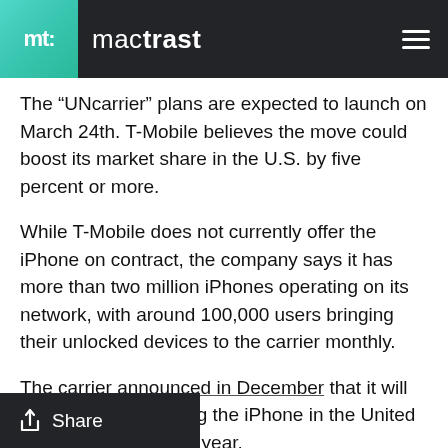mt mactrast
The “UNcarrier” plans are expected to launch on March 24th. T-Mobile believes the move could boost its market share in the U.S. by five percent or more.
While T-Mobile does not currently offer the iPhone on contract, the company says it has more than two million iPhones operating on its network, with around 100,000 users bringing their unlocked devices to the carrier monthly.
The carrier announced in December that it will begin officially offering the iPhone in the United States sometime this year.
Share